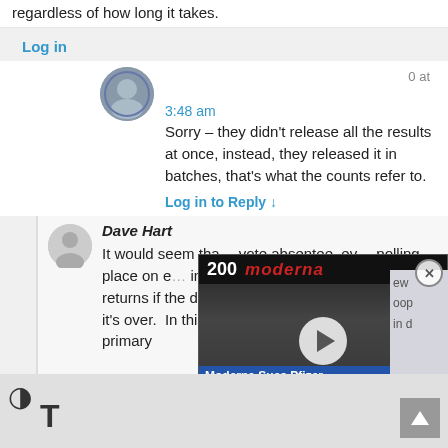regardless of how long it takes.
Log in
0 at
3:48 am
Sorry – they didn't release all the results at once, instead, they released it in batches, that's what the counts refer to.
Log in to Reply ↓
Dave Hart
It would seem tha… vote absentee, ev… polling place on e… increasing uncertainty in election returns if the desire is to call the election before it's over.  In this election I do think the Democratic primary
[Figure (screenshot): Video overlay showing Moderna building sign with play button. Caption reads 'Moderna Sues Pfizer Over COVID Vaccine Patents'. Has CLOSE button at bottom.]